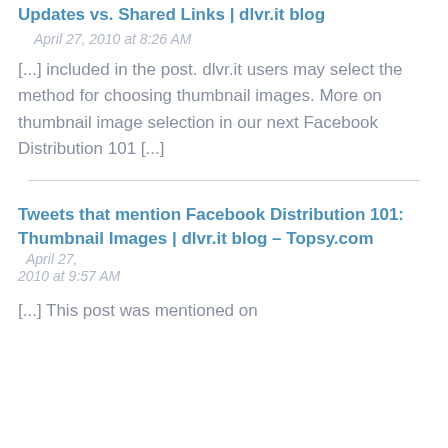Updates vs. Shared Links | dlvr.it blog
April 27, 2010 at 8:26 AM
[...] included in the post. dlvr.it users may select the method for choosing thumbnail images. More on thumbnail image selection in our next Facebook Distribution 101 [...]
Tweets that mention Facebook Distribution 101: Thumbnail Images | dlvr.it blog – Topsy.com
April 27, 2010 at 9:57 AM
[...] This post was mentioned on